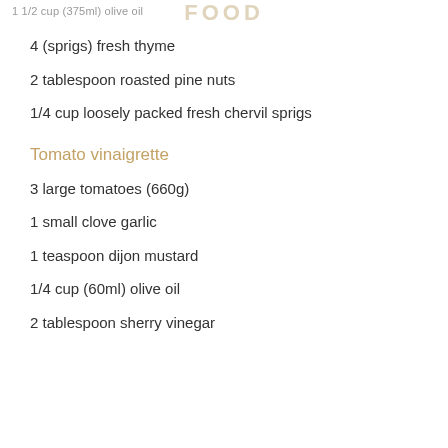1 1/2 cup (375ml) olive oil   FOOD
4 (sprigs) fresh thyme
2 tablespoon roasted pine nuts
1/4 cup loosely packed fresh chervil sprigs
Tomato vinaigrette
3 large tomatoes (660g)
1 small clove garlic
1 teaspoon dijon mustard
1/4 cup (60ml) olive oil
2 tablespoon sherry vinegar